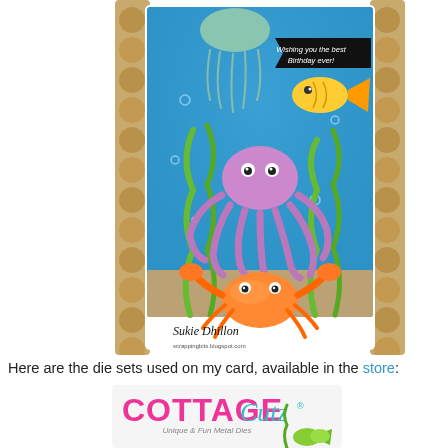[Figure (photo): A handmade birthday card featuring underwater ocean scene with cartoon sea creatures: jellyfish at top, a yellow fish, a purple octopus in the middle, green seaweed, an orange crab at the bottom on sandy seafloor. A banner reads 'Wishing you the best Birthday ever!' Signed 'Sukie Dhillon' at the bottom. The card is placed on a wooden bead necklace background.]
Here are the die sets used on my card, available in the store:
[Figure (logo): Cottage Cutz logo — 'COTTAGE' in pink bold letters, 'Cutz' in teal cursive, subtitle 'Unique & Fun Metal Dies'. Below the logo are illustrated fish and seaweed die cut samples.]